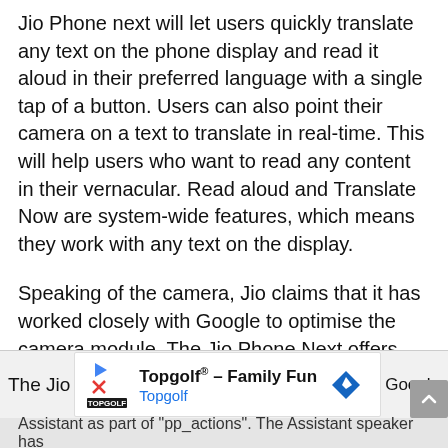Jio Phone next will let users quickly translate any text on the phone display and read it aloud in their preferred language with a single tap of a button. Users can also point their camera on a text to translate in real-time. This will help users who want to read any content in their vernacular. Read aloud and Translate Now are system-wide features, which means they work with any text on the display.
Speaking of the camera, Jio claims that it has worked closely with Google to optimise the camera module. The Jio Phone Next offers dedicated night mode, HDR, and Snapchat Lenses. According to Jio, the integrated Snapchat Lenses will offer India-specific AR filters to users. The Snapchat Lenses button is situated right next to the shutter button in the camera UI.
The Jio
[Figure (other): Advertisement banner for Topgolf - Family Fun featuring Topgolf logo and Google navigation icon]
Assistant as part of "pp_actions". The Assistant speaker has